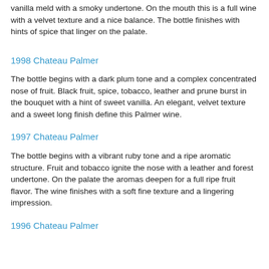vanilla meld with a smoky undertone. On the mouth this is a full wine with a velvet texture and a nice balance. The bottle finishes with hints of spice that linger on the palate.
1998 Chateau Palmer
The bottle begins with a dark plum tone and a complex concentrated nose of fruit. Black fruit, spice, tobacco, leather and prune burst in the bouquet with a hint of sweet vanilla. An elegant, velvet texture and a sweet long finish define this Palmer wine.
1997 Chateau Palmer
The bottle begins with a vibrant ruby tone and a ripe aromatic structure. Fruit and tobacco ignite the nose with a leather and forest undertone. On the palate the aromas deepen for a full ripe fruit flavor. The wine finishes with a soft fine texture and a lingering impression.
1996 Chateau Palmer